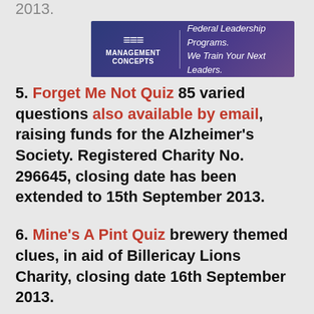2013.
[Figure (other): Management Concepts advertisement banner: logo on left with stylized 'M' icon and text 'MANAGEMENT CONCEPTS', divider line, then text 'Federal Leadership Programs. We Train Your Next Leaders.' on purple/blue gradient background.]
5. Forget Me Not Quiz 85 varied questions also available by email, raising funds for the Alzheimer's Society. Registered Charity No. 296645, closing date has been extended to 15th September 2013.
6. Mine's A Pint Quiz brewery themed clues, in aid of Billericay Lions Charity, closing date 16th September 2013.
7. Birds Quiz 100 clues, in aid of